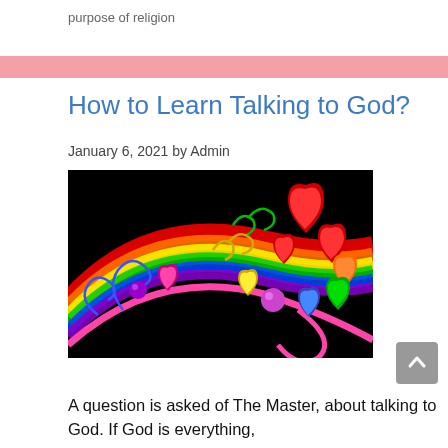purpose of religion
How to Learn Talking to God?
January 6, 2021 by Admin
[Figure (illustration): Colorful illustration on a black background showing a rainbow with swirling musical note designs and multiple glossy heart shapes in various colors (red, orange, yellow, green, blue, purple, pink) scattered along the rainbow arc.]
A question is asked of The Master, about talking to God. If God is everything,